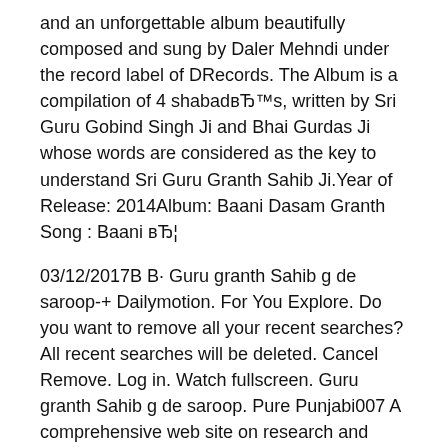and an unforgettable album beautifully composed and sung by Daler Mehndi under the record label of DRecords. The Album is a compilation of 4 shabadвЂ™s, written by Sri Guru Gobind Singh Ji and Bhai Gurdas Ji whose words are considered as the key to understand Sri Guru Granth Sahib Ji.Year of Release: 2014Album: Baani Dasam Granth Song : Baani вЂ¦
03/12/2017В В· Guru granth Sahib g de saroop-+ Dailymotion. For You Explore. Do you want to remove all your recent searches? All recent searches will be deleted. Cancel Remove. Log in. Watch fullscreen. Guru granth Sahib g de saroop. Pure Punjabi007 A comprehensive web site on research and exploration of Sri Guru Granth Sahib, Amrit Keertan Gutka, Bhai Gurdas vaaran, Sri Dasam Granth Sahib, Bhai Nand Lal Baani,Mahan Kosh, Hukumnamas, Nitnem Baanis, exegesis , Gurbani, Gurbanee vichaar..